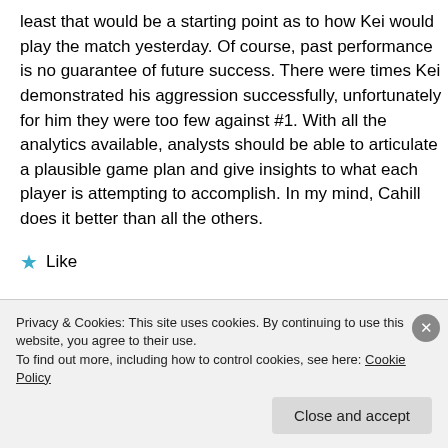least that would be a starting point as to how Kei would play the match yesterday. Of course, past performance is no guarantee of future success. There were times Kei demonstrated his aggression successfully, unfortunately for him they were too few against #1. With all the analytics available, analysts should be able to articulate a plausible game plan and give insights to what each player is attempting to accomplish. In my mind, Cahill does it better than all the others.
★ Like
Privacy & Cookies: This site uses cookies. By continuing to use this website, you agree to their use.
To find out more, including how to control cookies, see here: Cookie Policy
Close and accept